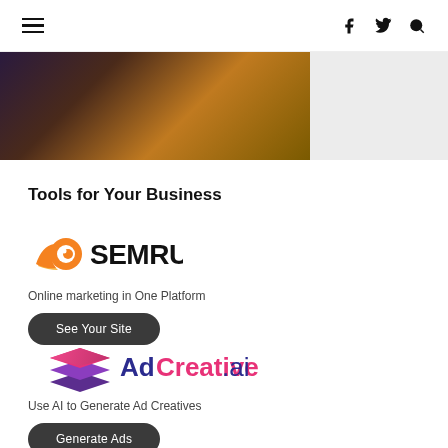≡  f  𝕏  🔍
[Figure (photo): Blurry dark photo of people/crowd on left side, grey rectangle on right side]
Tools for Your Business
[Figure (logo): SEMrush logo — orange rocket/comet with eye icon and SEMRUSH text in black]
Online marketing in One Platform
See Your Site
[Figure (logo): AdCreative.ai logo — stacked pink/purple layers icon with AdCreative.ai text]
Use AI to Generate Ad Creatives
Generate Ads